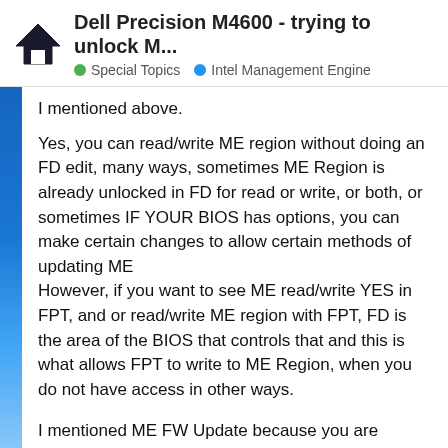Dell Precision M4600 - trying to unlock M... | Special Topics | Intel Management Engine
I mentioned above.
Yes, you can read/write ME region without doing an FD edit, many ways, sometimes ME Region is already unlocked in FD for read or write, or both, or sometimes IF YOUR BIOS has options, you can make certain changes to allow certain methods of updating ME
However, if you want to see ME read/write YES in FPT, and or read/write ME region with FPT, FD is the area of the BIOS that controls that and this is what allows FPT to write to ME Region, when you do not have access in other ways.
I mentioned ME FW Update because you are talking BIOS options, which only concern ME FW Update tool methods 99% of the time, BIOS